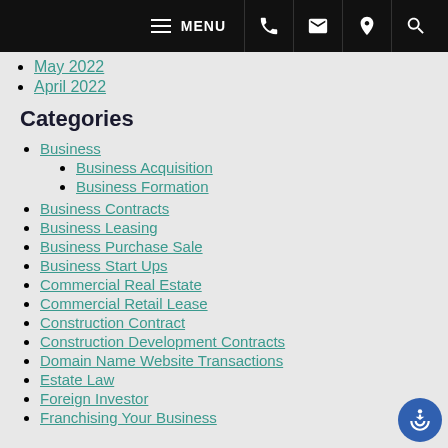MENU [navigation icons: phone, email, location, search]
May 2022
April 2022
Categories
Business
Business Acquisition
Business Formation
Business Contracts
Business Leasing
Business Purchase Sale
Business Start Ups
Commercial Real Estate
Commercial Retail Lease
Construction Contract
Construction Development Contracts
Domain Name Website Transactions
Estate Law
Foreign Investor
Franchising Your Business